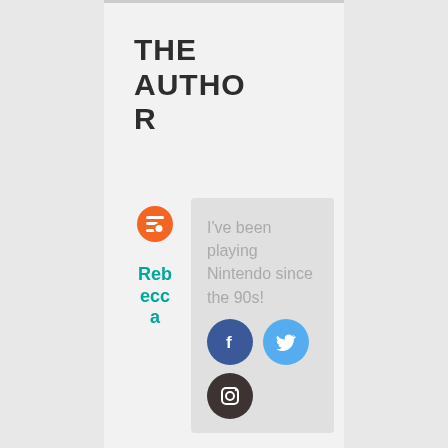THE AUTHOR
[Figure (infographic): Author card with Blogger icon, name 'Rebecca' in teal, bio text 'I've been playing Nintendo since the 90s!', and social media icons for Facebook, Twitter, and Instagram]
Rebecca
I've been playing Nintendo since the 90s!